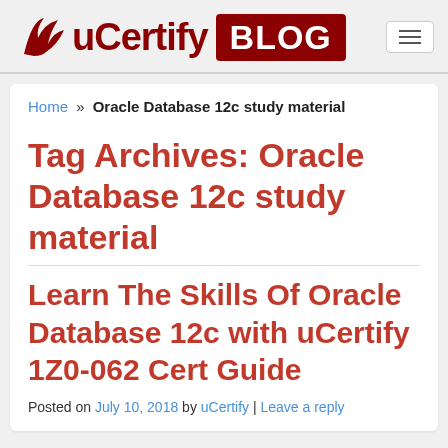[Figure (logo): uCertify BLOG logo with bird icon in dark red and white text BLOG on dark red background]
Tag Archives: Oracle Database 12c study material
Learn The Skills Of Oracle Database 12c with uCertify 1Z0-062 Cert Guide
Posted on July 10, 2018 by uCertify | Leave a reply